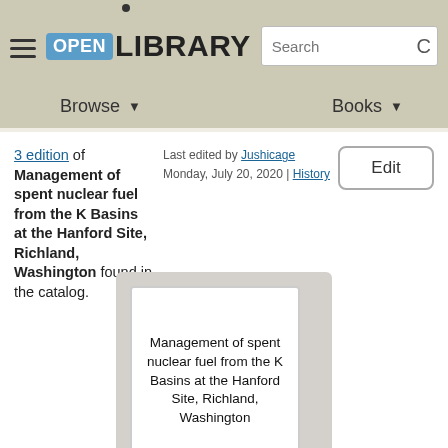OPEN LIBRARY — Search — Browse — Books
3 edition of Management of spent nuclear fuel from the K Basins at the Hanford Site, Richland, Washington found in the catalog. Last edited by Jushicage Monday, July 20, 2020 | History
[Figure (other): Book cover placeholder showing the title 'Management of spent nuclear fuel from the K Basins at the Hanford Site, Richland, Washington' as text on a white card within a gray card frame]